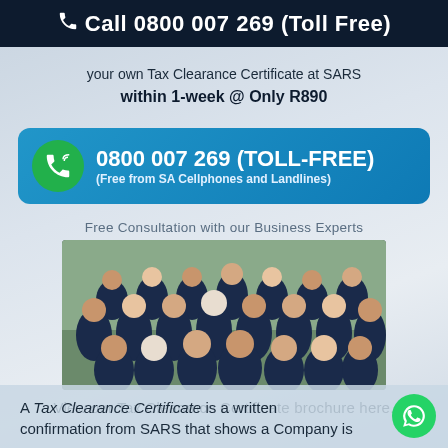📞 Call 0800 007 269 (Toll Free)
your own Tax Clearance Certificate at SARS within 1-week @ Only R890
0800 007 269 (TOLL-FREE) (Free from SA Cellphones and Landlines)
Free Consultation with our Business Experts
[Figure (photo): Group photo of business team members dressed in dark navy polo shirts, posing outdoors in front of trees.]
View our Tax Clearance Certificate brochure here.
A Tax Clearance Certificate is a written confirmation from SARS that shows a Company is